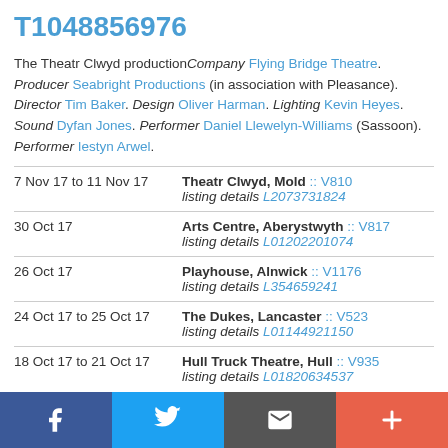T1048856976
The Theatr Clwyd production Company Flying Bridge Theatre. Producer Seabright Productions (in association with Pleasance). Director Tim Baker. Design Oliver Harman. Lighting Kevin Heyes. Sound Dyfan Jones. Performer Daniel Llewelyn-Williams (Sassoon). Performer Iestyn Arwel.
| Date | Venue |
| --- | --- |
| 7 Nov 17 to 11 Nov 17 | Theatr Clwyd, Mold :: V810
listing details L2073731824 |
| 30 Oct 17 | Arts Centre, Aberystwyth :: V817
listing details L01202201074 |
| 26 Oct 17 | Playhouse, Alnwick :: V1176
listing details L354659241 |
| 24 Oct 17 to 25 Oct 17 | The Dukes, Lancaster :: V523
listing details L01144921150 |
| 18 Oct 17 to 21 Oct 17 | Hull Truck Theatre, Hull :: V935
listing details L01820634537 |